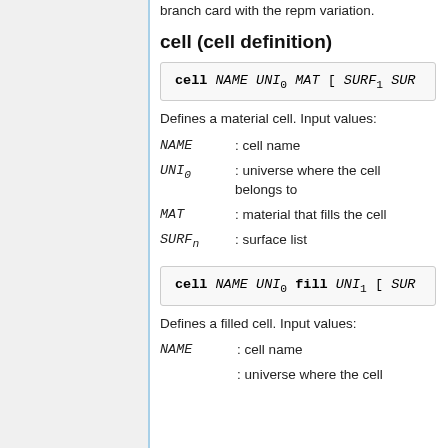branch card with the repm variation.
cell (cell definition)
Defines a material cell. Input values:
NAME : cell name
UNI_0 : universe where the cell belongs to
MAT : material that fills the cell
SURF_n : surface list
Defines a filled cell. Input values:
NAME : cell name
: universe where the cell